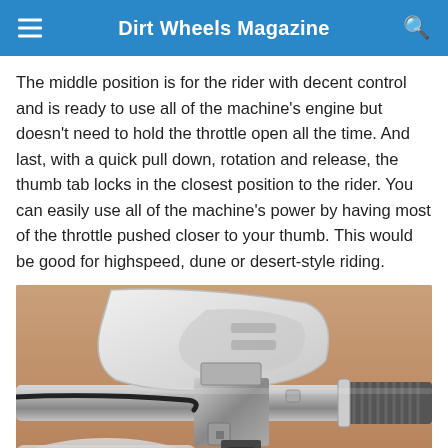Dirt Wheels Magazine
The middle position is for the rider with decent control and is ready to use all of the machine's engine but doesn't need to hold the throttle open all the time. And last, with a quick pull down, rotation and release, the thumb tab locks in the closest position to the rider. You can easily use all of the machine's power by having most of the throttle pushed closer to your thumb. This would be good for highspeed, dune or desert-style riding.
[Figure (photo): Close-up photograph of a motorcycle handlebar assembly showing a white hand guard, chrome handlebar clamp, throttle cable, and textured grip on the right side, against a tan/beige background.]